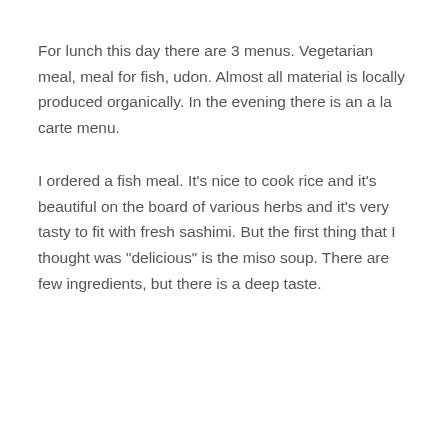For lunch this day there are 3 menus. Vegetarian meal, meal for fish, udon. Almost all material is locally produced organically. In the evening there is an a la carte menu.
I ordered a fish meal. It's nice to cook rice and it's beautiful on the board of various herbs and it's very tasty to fit with fresh sashimi. But the first thing that I thought was "delicious" is the miso soup. There are few ingredients, but there is a deep taste.